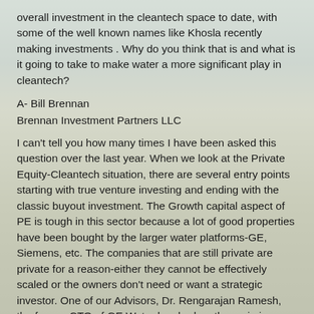overall investment in the cleantech space to date, with some of the well known names like Khosla recently making investments . Why do you think that is and what is it going to take to make water a more significant play in cleantech?
A- Bill Brennan
Brennan Investment Partners LLC
I can't tell you how many times I have been asked this question over the last year. When we look at the Private Equity-Cleantech situation, there are several entry points starting with true venture investing and ending with the classic buyout investment. The Growth capital aspect of PE is tough in this sector because a lot of good properties have been bought by the larger water platforms-GE, Siemens, etc. The companies that are still private are private for a reason-either they cannot be effectively scaled or the owners don't need or want a strategic investor. One of our Advisors, Dr. Rengarajan Ramesh, the former CTO of GE Water has broken the main issues into four areas that I think private equity should focus on before any investment is undertaken.